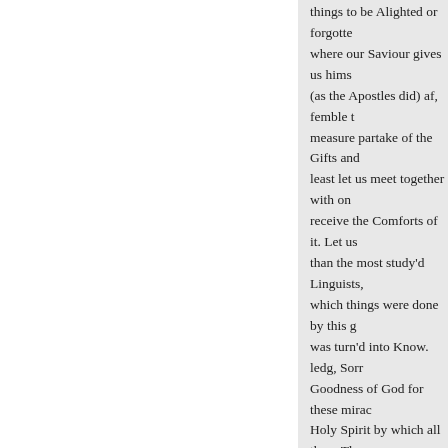things to be Alighted or forgotte where our Saviour gives us hims (as the Apostles did) af, femble t measure partake of the Gifts and least let us meet together with on receive the Comforts of it. Let us than the most study'd Linguists, which things were done by this g was turn'd into Know. ledg, Sorr Goodness of God for these mirac Holy Spirit by which all these Th Spirit, that came down this Day Devotion, lest he come again in not transple under foot the Blood rather let us remember him now,
□□□□□□□□□□□□
-□□□□
DISCOURSE VI.
The GOSPEL for Whitsun